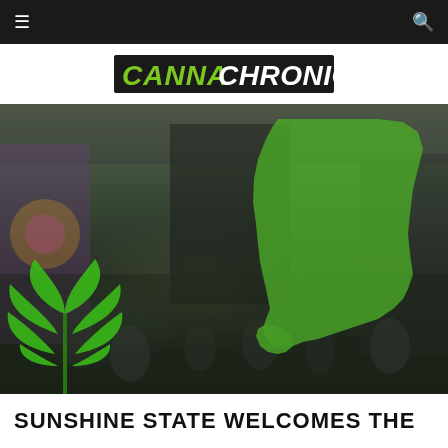Navigation bar with menu and search icons
[Figure (logo): CannaChronicle logo — CANNA in green bold italic, CHRONICLE in black bold italic, on white background]
[Figure (photo): Convention/expo hall scene with crowd of people, vendor booths with colorful displays, overlaid with a bright green silhouette of the state of Florida on the right side, and a green cannabis leaf graphic in the lower-left corner]
SUNSHINE STATE WELCOMES THE